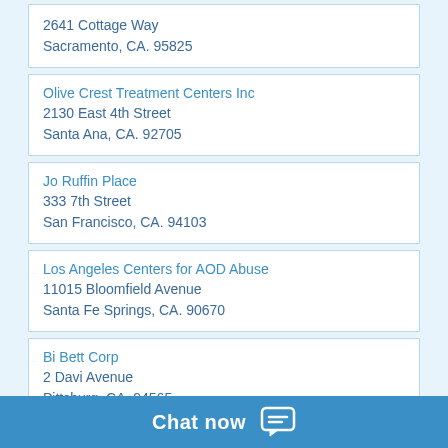2641 Cottage Way
Sacramento, CA. 95825
Olive Crest Treatment Centers Inc
2130 East 4th Street
Santa Ana, CA. 92705
Jo Ruffin Place
333 7th Street
San Francisco, CA. 94103
Los Angeles Centers for AOD Abuse
11015 Bloomfield Avenue
Santa Fe Springs, CA. 90670
Bi Bett Corp
2 Davi Avenue
Pittsburg, CA. 94565
Baker Places Inc
1326 4th Avenue
San Francisco, CA. 94122
NA meetings in Anaheim:
Chat now